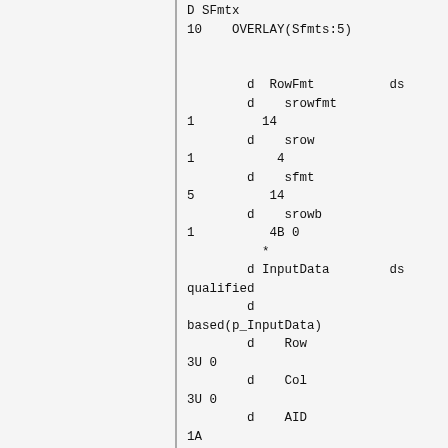D SFmtx
10    OVERLAY(Sfmts:5)


        d  RowFmt          ds
        d    srowfmt
1         14
        d    srow
1           4
        d    sfmt
5          14
        d    srowb
1          4B 0
          *
        d InputData        ds
qualified
        d
based(p_InputData)
        d    Row
3U 0
        d    Col
3U 0
        d    AID
1A
        d    Field
500A
          /free

               // -------------------
-----------------------------
            //  Create
Input/Output buffers and clear